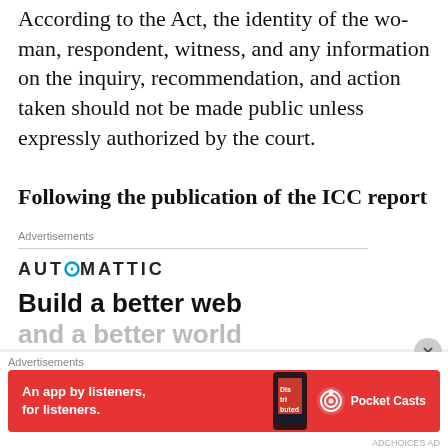According to the Act, the identity of the woman, respondent, witness, and any information on the inquiry, recommendation, and action taken should not be made public unless expressly authorized by the court.
Following the publication of the ICC report
Advertisements
[Figure (logo): Automattic logo with stylized O in teal/blue circle]
Build a better web and a better world
Advertisements
[Figure (infographic): Pocket Casts advertisement banner: red background, phone image with 'Distributed' text, tagline 'An app by listeners, for listeners.' with Pocket Casts logo]